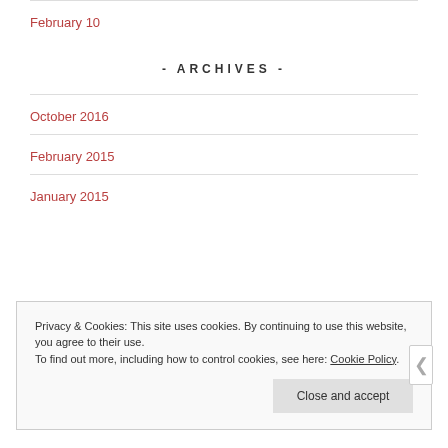February 10
- ARCHIVES -
October 2016
February 2015
January 2015
Privacy & Cookies: This site uses cookies. By continuing to use this website, you agree to their use.
To find out more, including how to control cookies, see here: Cookie Policy
Close and accept